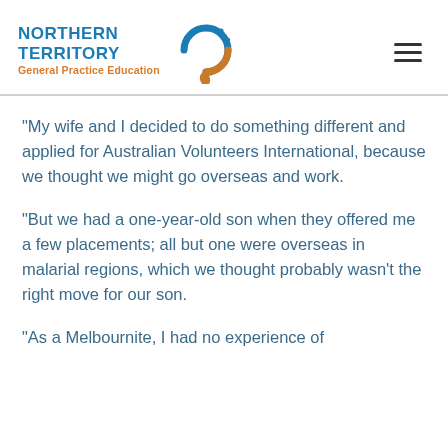Northern Territory General Practice Education
“My wife and I decided to do something different and applied for Australian Volunteers International, because we thought we might go overseas and work.
“But we had a one-year-old son when they offered me a few placements; all but one were overseas in malarial regions, which we thought probably wasn’t the right move for our son.
“As a Melbournite, I had no experience of